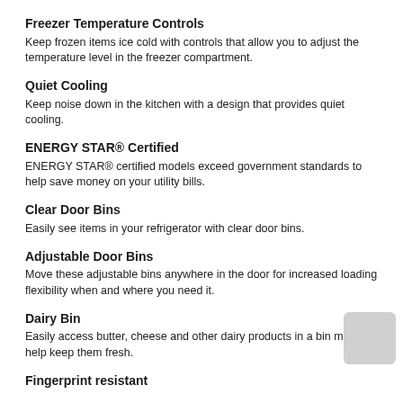Freezer Temperature Controls
Keep frozen items ice cold with controls that allow you to adjust the temperature level in the freezer compartment.
Quiet Cooling
Keep noise down in the kitchen with a design that provides quiet cooling.
ENERGY STAR® Certified
ENERGY STAR® certified models exceed government standards to help save money on your utility bills.
Clear Door Bins
Easily see items in your refrigerator with clear door bins.
Adjustable Door Bins
Move these adjustable bins anywhere in the door for increased loading flexibility when and where you need it.
Dairy Bin
Easily access butter, cheese and other dairy products in a bin made to help keep them fresh.
Fingerprint resistant